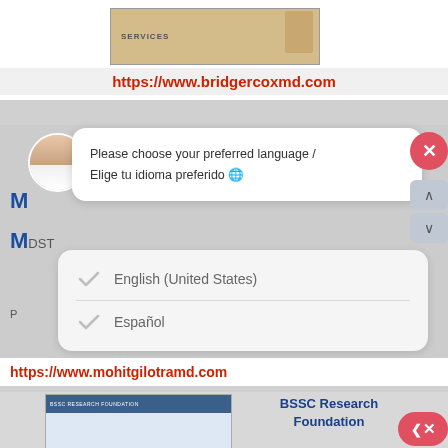[Figure (screenshot): Services banner image with tan/beige background and a person figure on the right]
https://www.bridgercoxmd.com
[Figure (screenshot): Chat popup with avatar showing: Please choose your preferred language / Elige tu idioma preferido with a globe emoji, with close X button and navigation arrows]
English (United States)
Español
https://www.mohitgilotramd.com
[Figure (screenshot): BSSC Research Foundation website screenshot thumbnail]
BSSC Research Foundation